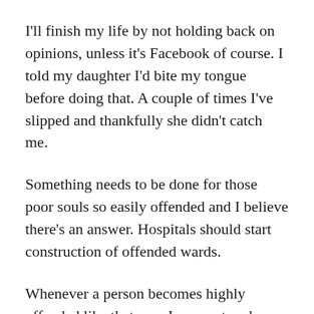I'll finish my life by not holding back on opinions, unless it's Facebook of course. I told my daughter I'd bite my tongue before doing that. A couple of times I've slipped and thankfully she didn't catch me.
Something needs to be done for those poor souls so easily offended and I believe there's an answer. Hospitals should start construction of offended wards.
Whenever a person becomes highly offended like that man I encountered, they, or someone close to them, should immediately call for emergency help. Strapped to a gurney in an ambulance, they'd be quickly whisked away. A